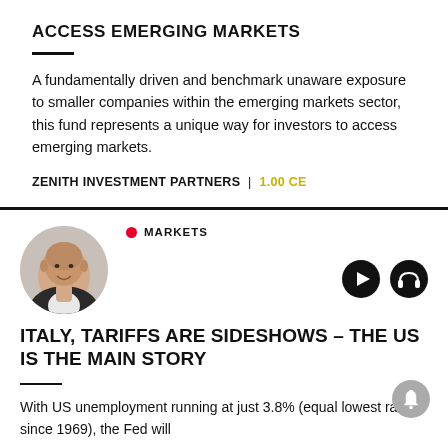ACCESS EMERGING MARKETS
A fundamentally driven and benchmark unaware exposure to smaller companies within the emerging markets sector, this fund represents a unique way for investors to access emerging markets.
ZENITH INVESTMENT PARTNERS | 1.00 CE
MARKETS
ITALY, TARIFFS ARE SIDESHOWS – THE US IS THE MAIN STORY
With US unemployment running at just 3.8% (equal lowest rate since 1969), the Fed will